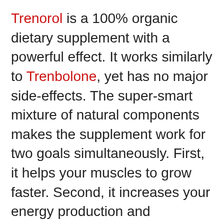Trenorol is a 100% organic dietary supplement with a powerful effect. It works similarly to Trenbolone, yet has no major side-effects. The super-smart mixture of natural components makes the supplement work for two goals simultaneously. First, it helps your muscles to grow faster. Second, it increases your energy production and encourages fat loss.
Plus, Trenorol is a great tool to increase your vascularity. The supplement stimulates red blood cell formation. This effect is crucial for bringing more oxygen to your muscles, it also